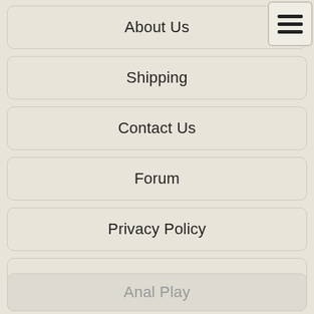About Us
Shipping
Contact Us
Forum
Privacy Policy
Site Map
Anal Play